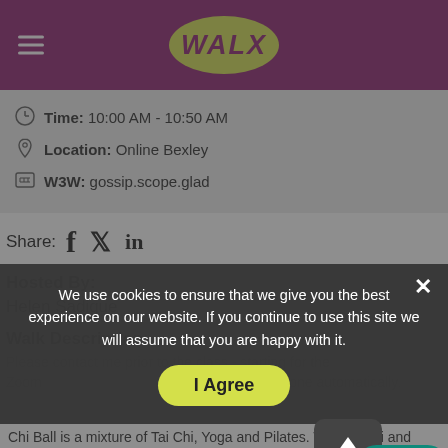[Figure (logo): WALX logo in yellow/green on purple header background with hamburger menu icon]
Time: 10:00 AM - 10:50 AM
Location: Online Bexley
W3W: gossip.scope.glad
Share: f (Facebook) Twitter LinkedIn
Hosted By:
Helen Sadique
Walk Description:
Please contact me prior to the class - starting for the Zoom you will not be sent one automatically.
Chi Ball is a mixture of Tai Chi, Yoga and Pilates. The Tai Chi and
We use cookies to ensure that we give you the best experience on our website. If you continue to use this site we will assume that you are happy with it.
I Agree
Help